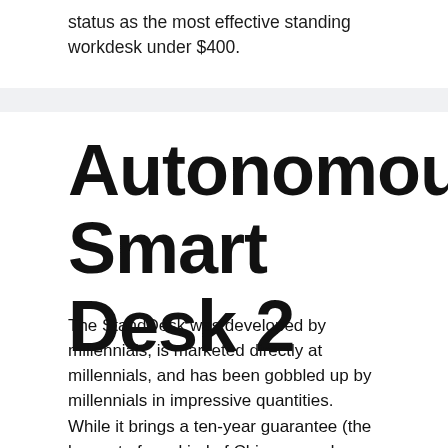status as the most effective standing workdesk under $400.
Autonomous Smart Desk 2
The StandDesk was developed by millennials, is marketed directly at millennials, and has been gobbled up by millennials in impressive quantities. While it brings a ten-year guarantee (the longest of any kind of Chinese-made base), in this instance it’s not always a dependable indication of the guaranteed beneficial life of